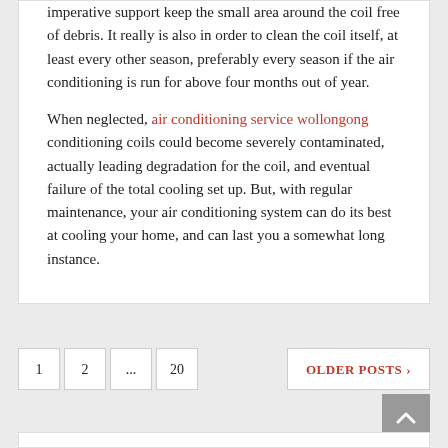imperative support keep the small area around the coil free of debris. It really is also in order to clean the coil itself, at least every other season, preferably every season if the air conditioning is run for above four months out of year.

When neglected, air conditioning service wollongong conditioning coils could become severely contaminated, actually leading degradation for the coil, and eventual failure of the total cooling set up. But, with regular maintenance, your air conditioning system can do its best at cooling your home, and can last you a somewhat long instance.
1 2 ... 20  OLDER POSTS ›